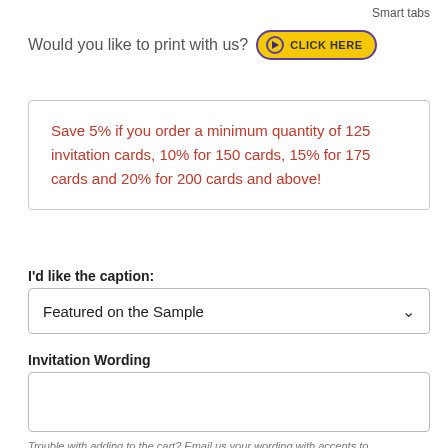Smart tabs
Would you like to print with us? CLICK HERE
Save 5% if you order a minimum quantity of 125 invitation cards, 10% for 150 cards, 15% for 175 cards and 20% for 200 cards and above!
I'd like the caption:
Featured on the Sample
Invitation Wording
Trouble with adding to the cart? Email us your wording with accents to